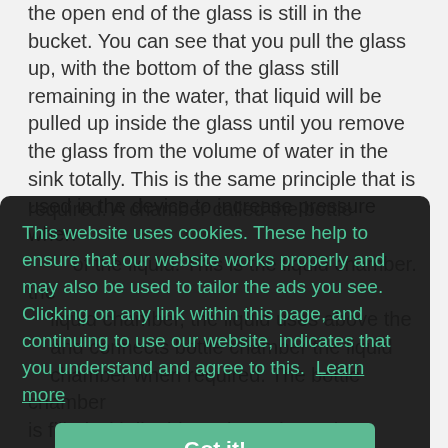the open end of the glass is still in the bucket. You can see that you pull the glass up, with the bottom of the glass still remaining in the water, that liquid will be pulled up inside the glass until you remove the glass from the volume of water in the sink totally. This is the same principle that is used in the device to increase pressure when required. A chamber called the bottle ... chamber when required. The bottle chamber is filled with liquid yet rises above the surface of the liquid in the liquid chamber. As it is all light at the top, liquid will sit in the bottle chamber rising above the surface of the liquid in the liquid chamber. The effect of the
This website uses cookies. These help to ensure that our website works properly and may also be used to tailor the ads you see. Clicking on any link within this page, and continuing to use our website, indicates that you understand and agree to this. Learn more